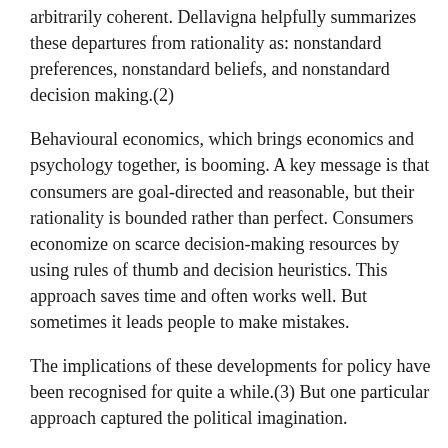arbitrarily coherent. Dellavigna helpfully summarizes these departures from rationality as: nonstandard preferences, nonstandard beliefs, and nonstandard decision making.(2)
Behavioural economics, which brings economics and psychology together, is booming. A key message is that consumers are goal-directed and reasonable, but their rationality is bounded rather than perfect. Consumers economize on scarce decision-making resources by using rules of thumb and decision heuristics. This approach saves time and often works well. But sometimes it leads people to make mistakes.
The implications of these developments for policy have been recognised for quite a while.(3) But one particular approach captured the political imagination.
On scans and humans